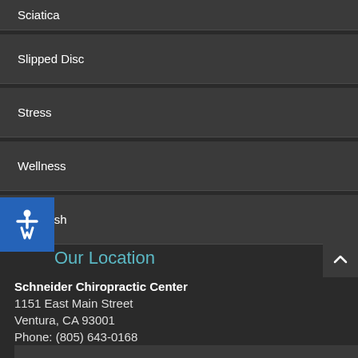Sciatica
Slipped Disc
Stress
Wellness
Whiplash
Our Location
Schneider Chiropractic Center
1151 East Main Street
Ventura, CA 93001
Phone: (805) 643-0168